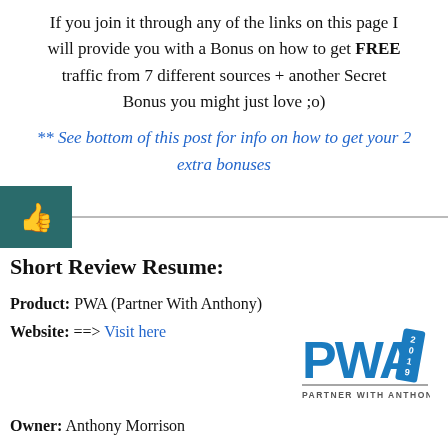If you join it through any of the links on this page I will provide you with a Bonus on how to get FREE traffic from 7 different sources + another Secret Bonus you might just love ;o)
** See bottom of this post for info on how to get your 2 extra bonuses
Short Review Resume:
Product: PWA (Partner With Anthony)
[Figure (logo): PWA 2019 Partner With Anthony logo]
Website: ==> Visit here
Owner: Anthony Morrison
Price (Varies) but when I visited it was only